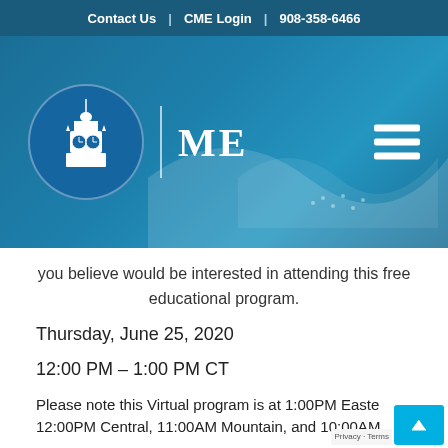Contact Us | CME Login | 908-358-6466
[Figure (logo): ME (Medical Education) logo with clock tower building icon in circular emblem, white on blue background, with ME text beside vertical divider]
you believe would be interested in attending this free educational program.
Thursday, June 25, 2020
12:00 PM – 1:00 PM CT
Please note this Virtual program is at 1:00PM Eastern, 12:00PM Central, 11:00AM Mountain, and 10:00AM